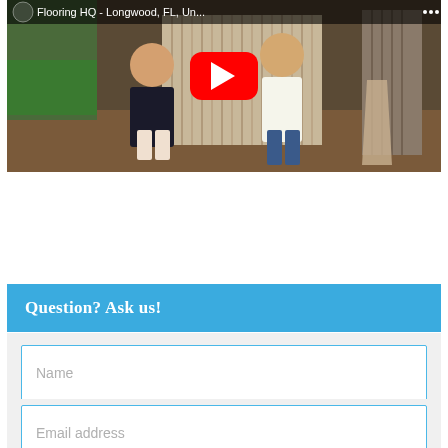[Figure (screenshot): YouTube video thumbnail showing two women in a flooring store with flooring samples. Title bar reads 'Flooring HQ - Longwood, FL, Un...' with a YouTube play button overlay.]
Question? Ask us!
Name
Email address